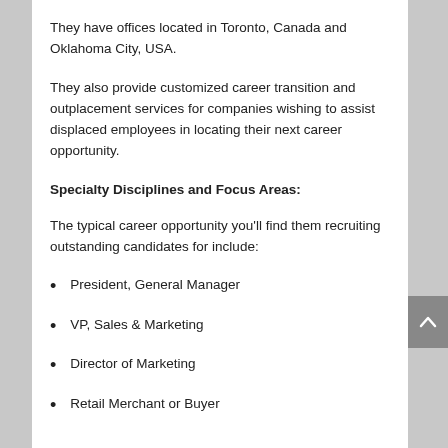They have offices located in Toronto, Canada and Oklahoma City, USA.
They also provide customized career transition and outplacement services for companies wishing to assist displaced employees in locating their next career opportunity.
Specialty Disciplines and Focus Areas:
The typical career opportunity you'll find them recruiting outstanding candidates for include:
President, General Manager
VP, Sales & Marketing
Director of Marketing
Retail Merchant or Buyer